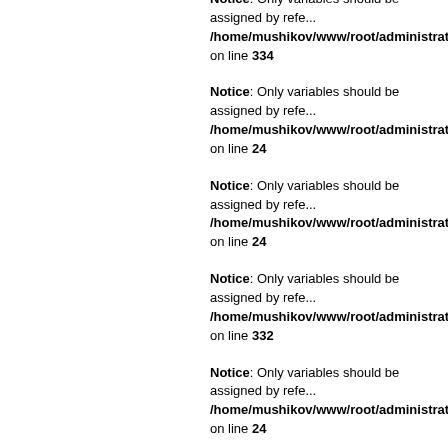Notice: Only variables should be assigned by reference in /home/mushikov/www/root/administrator/comp on line 334
Notice: Only variables should be assigned by reference in /home/mushikov/www/root/administrator/comp on line 24
Notice: Only variables should be assigned by reference in /home/mushikov/www/root/administrator/comp on line 24
Notice: Only variables should be assigned by reference in /home/mushikov/www/root/administrator/comp on line 332
Notice: Only variables should be assigned by reference in /home/mushikov/www/root/administrator/comp on line 24
Notice: Only variables should be assigned by reference in /home/mushikov/www/root/administrator/comp on line 334
Notice: Only variables should be assigned by reference in /home/mushikov/www/root/administrator/comp on line 24
Notice: Only variables should be assigned by reference in /home/mushikov/www/root/administrator/comp on line 24